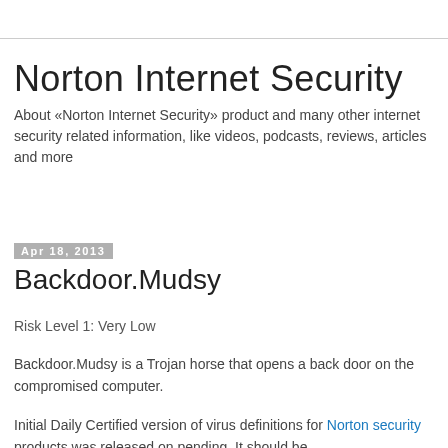Norton Internet Security
About «Norton Internet Security» product and many other internet security related information, like videos, podcasts, reviews, articles and more
Apr 18, 2013
Backdoor.Mudsy
Risk Level 1: Very Low
Backdoor.Mudsy is a Trojan horse that opens a back door on the compromised computer.
Initial Daily Certified version of virus definitions for Norton security products was released on pending. It should be